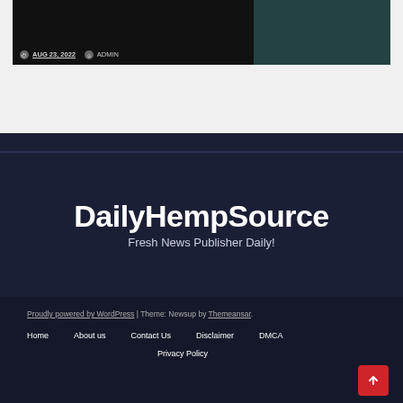[Figure (photo): Dark blog post card with date AUG 23, 2022 and author ADMIN, split into left dark image area and right dark image area]
AUG 23, 2022  ADMIN
DailyHempSource
Fresh News Publisher Daily!
Proudly powered by WordPress | Theme: Newsup by Themeansar. Home  About us  Contact Us  Disclaimer  DMCA  Privacy Policy